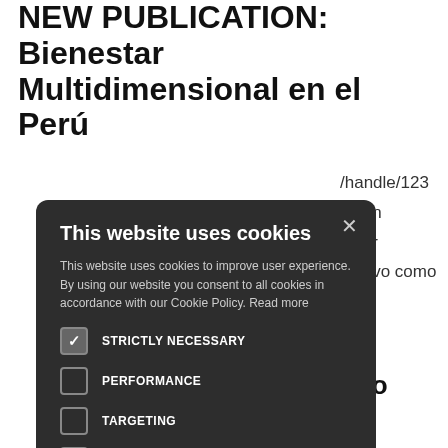NEW PUBLICATION: Bienestar Multidimensional en el Perú
/handle/123
oletín
estar
io tuvo como
[Figure (screenshot): Cookie consent modal dialog with dark background. Title: 'This website uses cookies'. Body text: 'This website uses cookies to improve user experience. By using our website you consent to all cookies in accordance with our Cookie Policy. Read more'. Options: STRICTLY NECESSARY (checked), PERFORMANCE (unchecked), TARGETING (unchecked), UNCLASSIFIED (unchecked). Buttons: ACCEPT ALL (green), DECLINE ALL (outlined). Footer: gear icon + SHOW DETAILS.]
n to